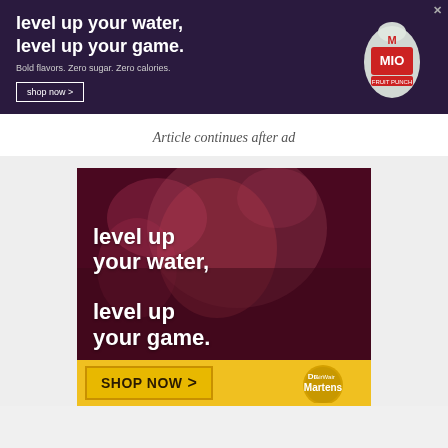[Figure (advertisement): MIO water enhancer ad banner with dark purple background. Text: 'level up your water, level up your game.' with 'Bold flavors. Zero sugar. Zero calories.' and a shop now button. MIO Fruit Punch bottle logo on right.]
Article continues after ad
[Figure (advertisement): Large MIO water enhancer ad on dark maroon background with person profile silhouette in smoke/mist. White text reads: 'level up your water, level up your game.' with Dr. Martens yellow banner at bottom showing 'SHOP NOW >' button.]